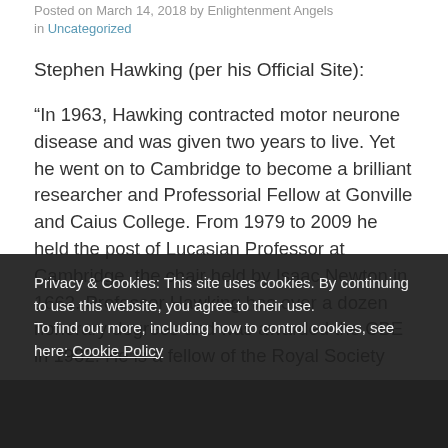Posted on March 14, 2018 by Enlightenment Angels in Uncategorized
Stephen Hawking (per his Official Site):
“In 1963, Hawking contracted motor neurone disease and was given two years to live. Yet he went on to Cambridge to become a brilliant researcher and Professorial Fellow at Gonville and Caius College. From 1979 to 2009 he held the post of Lucasian Professor at Cambridge, the chair held by Isaac Newton in 1663. Professor Hawking has over a dozen honorary degrees and was awarded the CBE in 1982. He is a fellow of the Royal Society
Privacy & Cookies: This site uses cookies. By continuing to use this website, you agree to their use.
To find out more, including how to control cookies, see here: Cookie Policy
Close and Accept